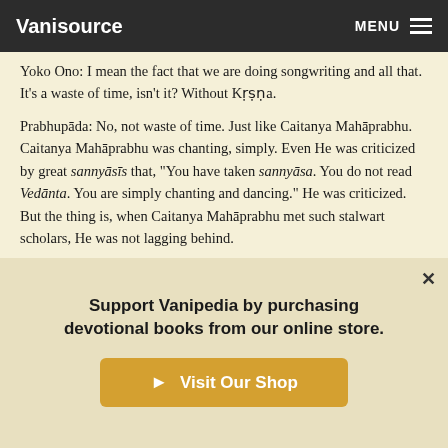Vanisource  MENU
Yoko Ono: I mean the fact that we are doing songwriting and all that. It's a waste of time, isn't it? Without Kṛṣṇa.
Prabhupāda: No, not waste of time. Just like Caitanya Mahāprabhu. Caitanya Mahāprabhu was chanting, simply. Even He was criticized by great sannyāsīs that, "You have taken sannyāsa. You do not read Vedānta. You are simply chanting and dancing." He was criticized. But the thing is, when Caitanya Mahāprabhu met such stalwart scholars, He was not lagging behind.
Similarly, Hare Kṛṣṇa mantra is sufficient. There is no doubt about it. But if one has to meet such scholars, he should also know Hare Kr...
Support Vanipedia by purchasing devotional books from our online store.
Visit Our Shop